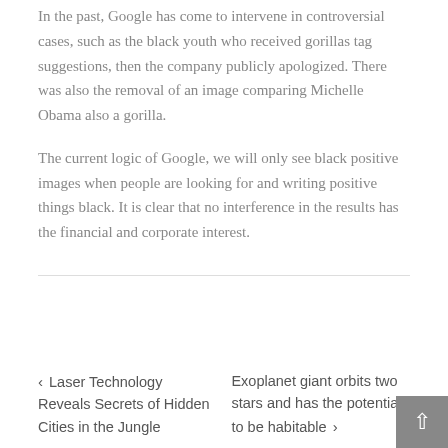In the past, Google has come to intervene in controversial cases, such as the black youth who received gorillas tag suggestions, then the company publicly apologized. There was also the removal of an image comparing Michelle Obama also a gorilla.
The current logic of Google, we will only see black positive images when people are looking for and writing positive things black. It is clear that no interference in the results has the financial and corporate interest.
‹ Laser Technology Reveals Secrets of Hidden Cities in the Jungle
Exoplanet giant orbits two stars and has the potential to be habitable ›